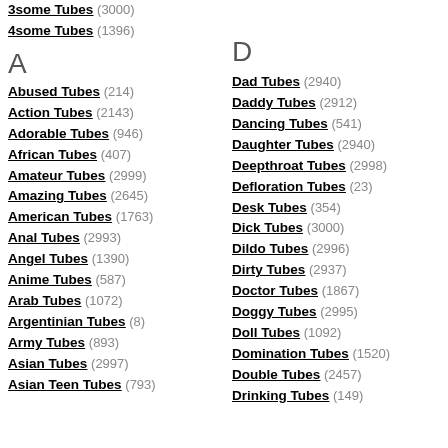3some Tubes (3000)
4some Tubes (1396)
A
Abused Tubes (214)
Action Tubes (2143)
Adorable Tubes (946)
African Tubes (407)
Amateur Tubes (2999)
Amazing Tubes (2645)
American Tubes (1763)
Anal Tubes (2993)
Angel Tubes (1390)
Anime Tubes (587)
Arab Tubes (1072)
Argentinian Tubes (8)
Army Tubes (893)
Asian Tubes (2997)
Asian Teen Tubes (793)
D
Dad Tubes (2940)
Daddy Tubes (2912)
Dancing Tubes (541)
Daughter Tubes (2940)
Deepthroat Tubes (2998)
Defloration Tubes (23)
Desk Tubes (354)
Dick Tubes (3000)
Dildo Tubes (2996)
Dirty Tubes (2937)
Doctor Tubes (1867)
Doggy Tubes (2995)
Doll Tubes (1092)
Domination Tubes (1520)
Double Tubes (2457)
Drinking Tubes (149)